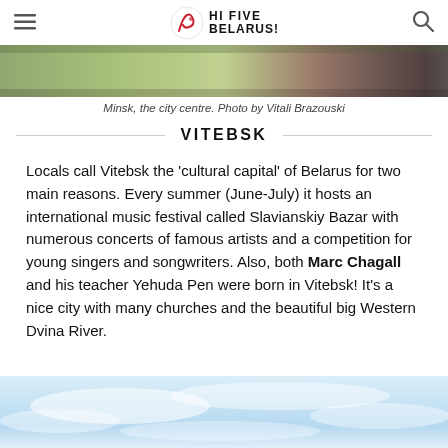HI FIVE BELARUS!
[Figure (photo): Top photo strip showing Minsk city centre, landscape view]
Minsk, the city centre. Photo by Vitali Brazouski
VITEBSK
Locals call Vitebsk the 'cultural capital' of Belarus for two main reasons. Every summer (June-July) it hosts an international music festival called Slavianskiy Bazar with numerous concerts of famous artists and a competition for young singers and songwriters. Also, both Marc Chagall and his teacher Yehuda Pen were born in Vitebsk! It's a nice city with many churches and the beautiful big Western Dvina River.
[Figure (photo): Bottom photo showing sky with clouds, likely Vitebsk landscape]